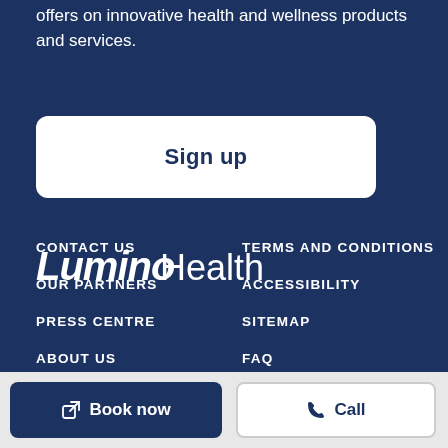offers on innovative health and wellness products and services.
Sign up
CONTACT US
TERMS AND CONDITIONS
OUR PARTNERS
ACCESSIBILITY
PRESS CENTRE
SITEMAP
ABOUT US
FAQ
PRIVACY POLICY
[Figure (logo): Lumino Health logo — 'Lumino' in bold white italic/stylized font, 'Health' in light white font]
Book now
Call